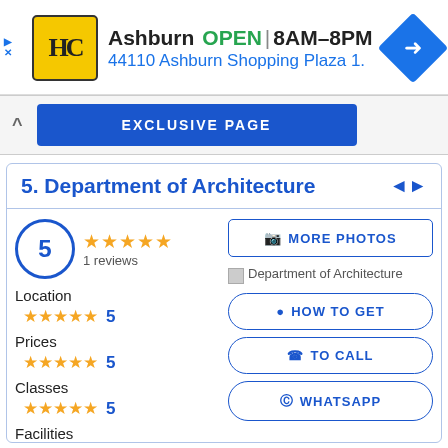[Figure (infographic): Ad banner for HC (Habib Corporation or similar) showing Ashburn location, OPEN 8AM-8PM, address 44110 Ashburn Shopping Plaza 1., with navigation icon]
EXCLUSIVE PAGE
5. Department of Architecture
5
1 reviews
MORE PHOTOS
Department of Architecture
Location
5
HOW TO GET
Prices
5
TO CALL
Classes
5
WHATSAPP
Facilities